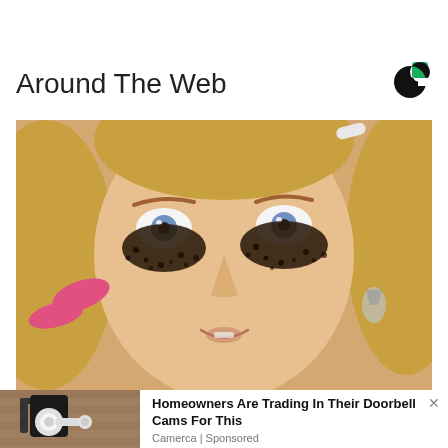Around The Web
[Figure (logo): Outbrain logo — circular C shape in green and black]
[Figure (photo): Close-up photo of a blonde woman applying dark coffee ground or heavy mascara/eye makeup under her eyes with her fingers, wearing large drop earrings]
[Figure (photo): Thumbnail image of a home security camera/doorbell cam mounted on a wall]
Homeowners Are Trading In Their Doorbell Cams For This
Camerca | Sponsored